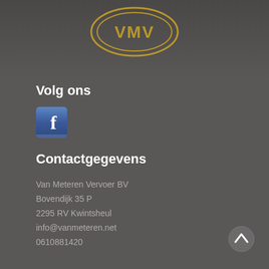[Figure (logo): VMV logo - gold oval with VMV text]
Volg ons
[Figure (logo): Facebook icon/logo button]
Contactgegevens
Van Meteren Vervoer BV
Bovendijk 35 P
2295 RV Kwintsheul
info@vanmeteren.net
0610881420